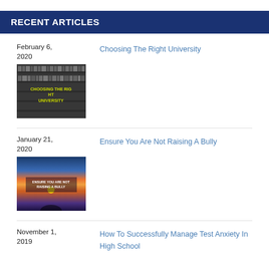RECENT ARTICLES
February 6, 2020
Choosing The Right University
[Figure (photo): Black and white photo of a library with 'CHOOSING THE RIGHT UNIVERSITY' text overlay in yellow]
January 21, 2020
Ensure You Are Not Raising A Bully
[Figure (photo): Sunset over water with 'ENSURE YOU ARE NOT RAISING A BULLY' text overlay]
November 1, 2019
How To Successfully Manage Test Anxiety In High School